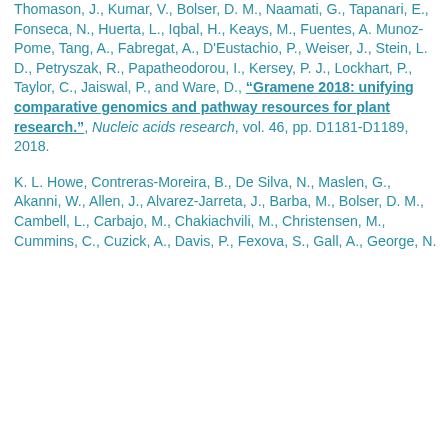Thomason, J., Kumar, V., Bolser, D. M., Naamati, G., Tapanari, E., Fonseca, N., Huerta, L., Iqbal, H., Keays, M., Fuentes, A. Munoz-Pome, Tang, A., Fabregat, A., D'Eustachio, P., Weiser, J., Stein, L. D., Petryszak, R., Papatheodorou, I., Kersey, P. J., Lockhart, P., Taylor, C., Jaiswal, P., and Ware, D., "Gramene 2018: unifying comparative genomics and pathway resources for plant research.", Nucleic acids research, vol. 46, pp. D1181-D1189, 2018.
K. L. Howe, Contreras-Moreira, B., De Silva, N., Maslen, G., Akanni, W., Allen, J., Alvarez-Jarreta, J., Barba, M., Bolser, D. M., Cambell, L., Carbajo, M., Chakiachvili, M., Christensen, M., Cummins, C., Cuzick, A., Davis, P., Fexova, S., Gall, A., George, N.